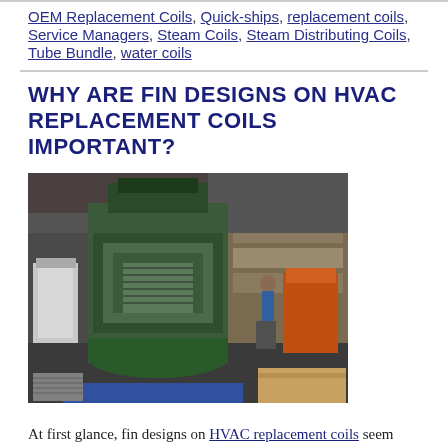OEM Replacement Coils, Quick-ships, replacement coils, Service Managers, Steam Coils, Steam Distributing Coils, Tube Bundle, water coils
WHY ARE FIN DESIGNS ON HVAC REPLACEMENT COILS IMPORTANT?
[Figure (photo): Industrial factory floor with large green manufacturing press machine for HVAC coil fins, workers visible in background, warehouse shelving and equipment surrounding the machine]
At first glance, fin designs on HVAC replacement coils seem about as exciting as watching grass grow. "Why